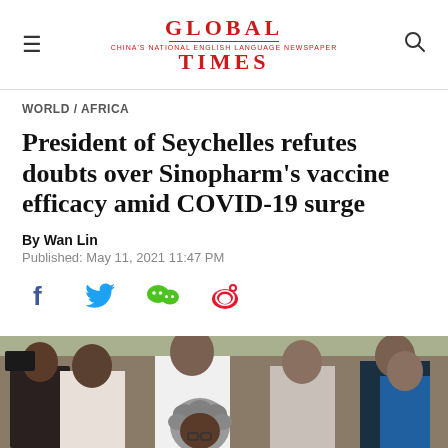GLOBAL TIMES
WORLD / AFRICA
President of Seychelles refutes doubts over Sinopharm's vaccine efficacy amid COVID-19 surge
By Wan Lin
Published: May 11, 2021 11:47 PM
[Figure (infographic): Social sharing icons: Facebook, Twitter, WeChat, Weibo]
[Figure (photo): Photo of people standing in what appears to be an outdoor queue or gathering, including a person with grey curly hair in the foreground and others in the background]